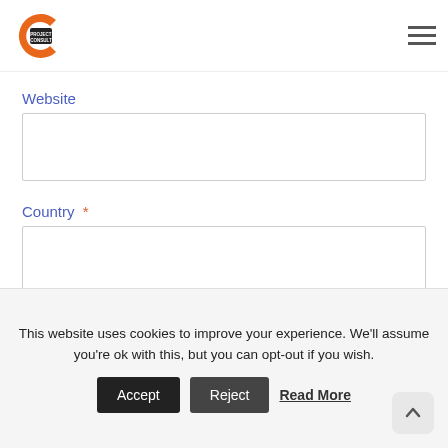[Figure (logo): ProjectConsult logo — orange/red C arc with dark text 'PROJECT CONSULT']
Website
Country *
Subscribe
This website uses cookies to improve your experience. We'll assume you're ok with this, but you can opt-out if you wish.
Accept
Reject
Read More